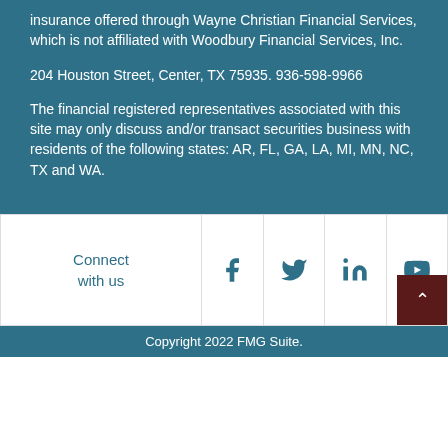insurance offered through Wayne Christian Financial Services, which is not affiliated with Woodbury Financial Services, Inc.
204 Houston Street, Center, TX 75935. 936-598-9966
The financial registered representatives associated with this site may only discuss and/or transact securities business with residents of the following states: AR, FL, GA, LA, MI, MN, NC, TX and WA.
Connect with us
Copyright 2022 FMG Suite.